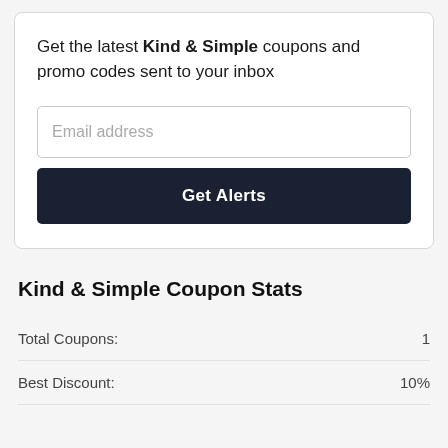Get the latest Kind & Simple coupons and promo codes sent to your inbox
Email address
Get Alerts
Kind & Simple Coupon Stats
|  |  |
| --- | --- |
| Total Coupons: | 1 |
| Best Discount: | 10% |